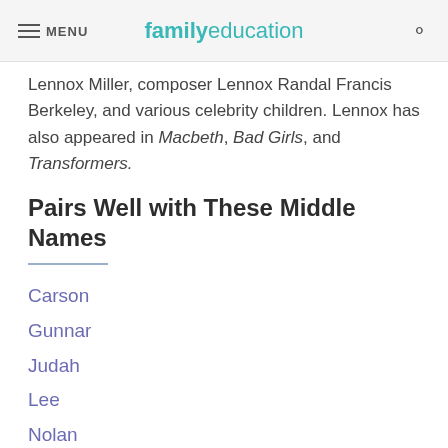MENU | familyeducation
Lennox Miller, composer Lennox Randal Francis Berkeley, and various celebrity children. Lennox has also appeared in Macbeth, Bad Girls, and Transformers.
Pairs Well with These Middle Names
Carson
Gunnar
Judah
Lee
Nolan
Appears On